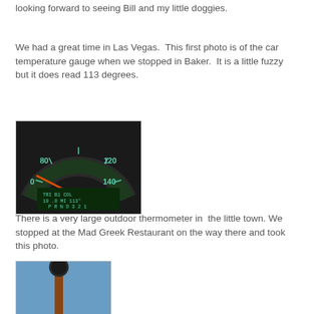looking forward to seeing Bill and my little doggies.
We had a great time in Las Vegas.  This first photo is of the car temperature gauge when we stopped in Baker.  It is a little fuzzy but it does read 113 degrees.
[Figure (photo): Close-up photo of a car dashboard temperature/speedometer gauge showing needle pointing to approximately 113 degrees, with digital readout showing TRI, B1, COL, 19.8 MI, 113 degrees, and PRND321 gear indicator. Illuminated with green teal numbers on dark background.]
There is a very large outdoor thermometer in  the little town. We stopped at the Mad Greek Restaurant on the way there and took this photo.
[Figure (photo): Photo of a large outdoor thermometer against a blue sky background, showing the top portion of a tall red and black thermometer structure.]